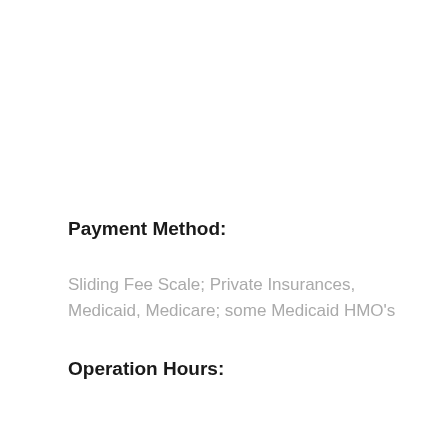Payment Method:
Sliding Fee Scale; Private Insurances, Medicaid, Medicare; some Medicaid HMO's
Operation Hours: